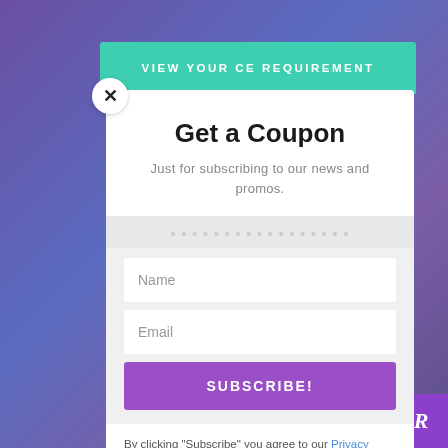VIEW YOUR CE REQUIREMENT
Get a Coupon
Just for subscribing to our news and promos.
Name
Email
SUBSCRIBE!
By clicking "Subscribe" you agree to our Privacy Policy.